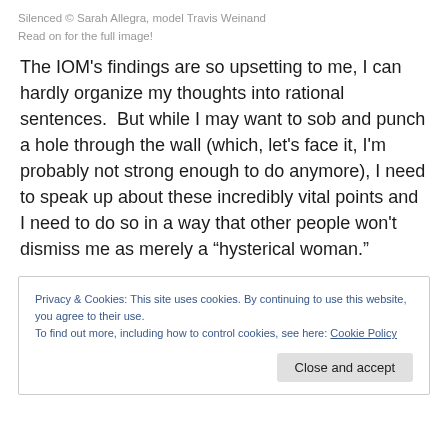Silenced © Sarah Allegra, model Travis Weinand
Read on for the full image!
The IOM's findings are so upsetting to me, I can hardly organize my thoughts into rational sentences.  But while I may want to sob and punch a hole through the wall (which, let's face it, I'm probably not strong enough to do anymore), I need to speak up about these incredibly vital points and I need to do so in a way that other people won't dismiss me as merely a “hysterical woman.”
Privacy & Cookies: This site uses cookies. By continuing to use this website, you agree to their use.
To find out more, including how to control cookies, see here: Cookie Policy